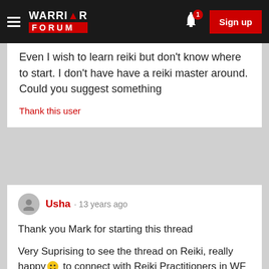Warrior Forum — Sign up
Even I wish to learn reiki but don't know where to start. I don't have have a reiki master around. Could you suggest something
Thank this user
Usha · 13 years ago
Thank you Mark for starting this thread
Very Suprising to see the thread on Reiki, really happy to connect with Reiki Practitioners in WF Very